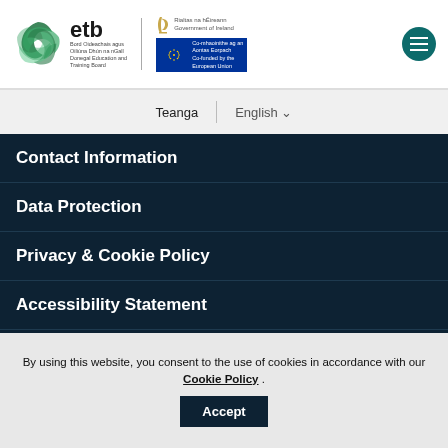[Figure (logo): ETB Donegal Education and Training Board logo with swirl graphic, alongside Government of Ireland harp and EU co-funded logos]
Teanga | English
Contact Information
Data Protection
Privacy & Cookie Policy
Accessibility Statement
Contact Us
Administrative Offices
By using this website, you consent to the use of cookies in accordance with our Cookie Policy .